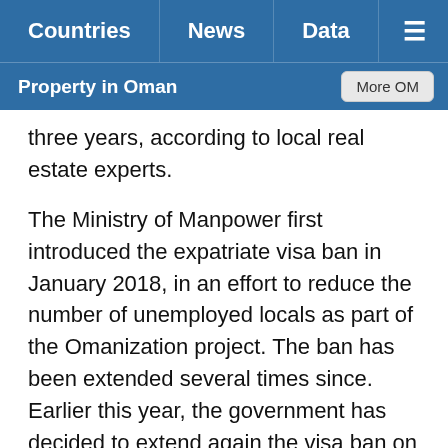Countries | News | Data | ≡
Property in Oman | More OM
three years, according to local real estate experts.
The Ministry of Manpower first introduced the expatriate visa ban in January 2018, in an effort to reduce the number of unemployed locals as part of the Omanization project. The ban has been extended several times since. Earlier this year, the government has decided to extend again the visa ban on expats for another six months from August 5, 2020, and has expanded the coverage to include more job categories.